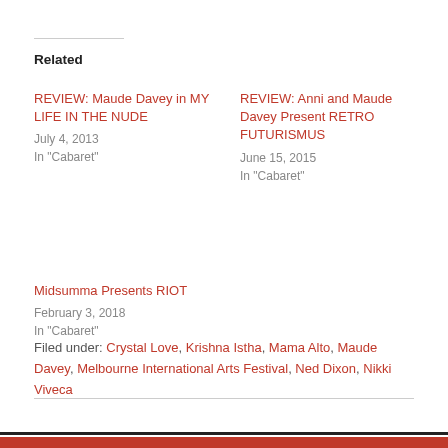Related
REVIEW: Maude Davey in MY LIFE IN THE NUDE
July 4, 2013
In "Cabaret"
REVIEW: Anni and Maude Davey Present RETRO FUTURISMUS
June 15, 2015
In "Cabaret"
Midsumma Presents RIOT
February 3, 2018
In "Cabaret"
Filed under: Crystal Love, Krishna Istha, Mama Alto, Maude Davey, Melbourne International Arts Festival, Ned Dixon, Nikki Viveca